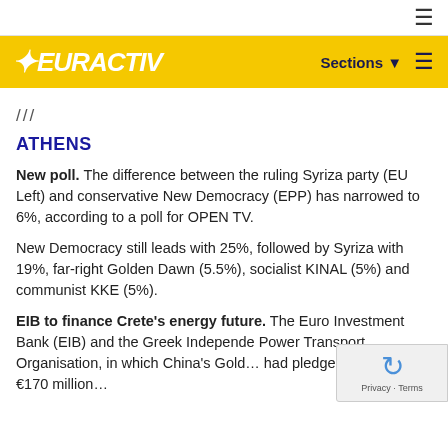EURACTIV — Sections (hamburger menu)
///
ATHENS
New poll. The difference between the ruling Syriza party (EU Left) and conservative New Democracy (EPP) has narrowed to 6%, according to a poll for OPEN TV.
New Democracy still leads with 25%, followed by Syriza with 19%, far-right Golden Dawn (5.5%), socialist KINAL (5%) and communist KKE (5%).
EIB to finance Crete's energy future. The Euro Investment Bank (EIB) and the Greek Independe Power Transport Organisation, in which China's Gold… had pledged to invest €170 million…